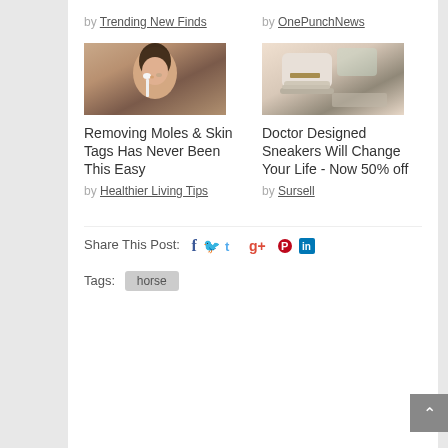by Trending New Finds
by OnePunchNews
[Figure (photo): Woman applying makeup/skincare product to her face]
Removing Moles & Skin Tags Has Never Been This Easy
by Healthier Living Tips
[Figure (photo): Close-up of white sneakers/shoes being worn]
Doctor Designed Sneakers Will Change Your Life - Now 50% off
by Sursell
Share This Post:
Tags: horse